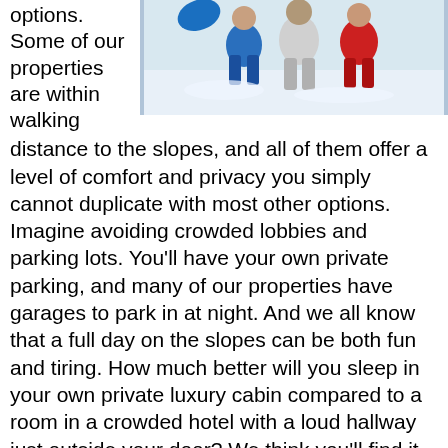[Figure (photo): People skiing or playing in snow, viewed from above/side, wearing winter clothing in blue and red jackets]
options. Some of our properties are within walking distance to the slopes, and all of them offer a level of comfort and privacy you simply cannot duplicate with most other options. Imagine avoiding crowded lobbies and parking lots. You'll have your own private parking, and many of our properties have garages to park in at night. And we all know that a full day on the slopes can be both fun and tiring. How much better will you sleep in your own private luxury cabin compared to a room in a crowded hotel with a loud hallway just outside your door? We think you'll find it an entirely different experience, and one that will make your enjoyment of your ski outing even more special.
Browse all of our Big Bear cabins at this link, or give us a call at 310-780-3411, and we'll help you find a cabin to